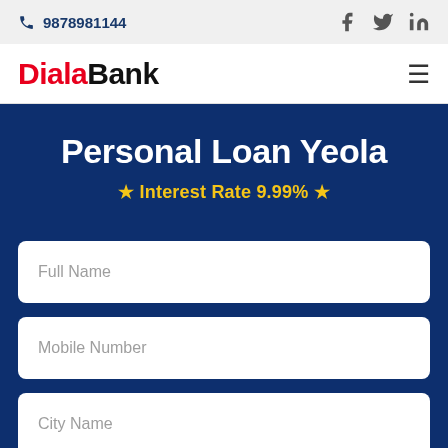9878981144
DialaBank
Personal Loan Yeola
★ Interest Rate 9.99% ★
Full Name
Mobile Number
City Name
Company Name